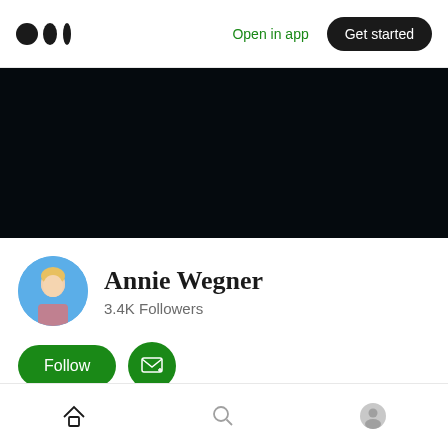Medium logo | Open in app | Get started
[Figure (photo): Dark/black banner background image for Annie Wegner's Medium profile page]
[Figure (photo): Circular avatar photo of Annie Wegner — woman with blonde hair outdoors]
Annie Wegner
3.4K Followers
Follow | Subscribe by email button
Home   Lists   About
Bottom navigation: Home, Search, Profile